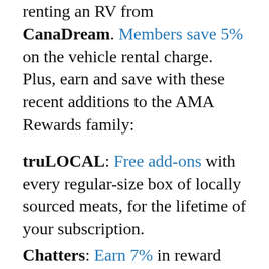renting an RV from CanaDream. Members save 5% on the vehicle rental charge. Plus, earn and save with these recent additions to the AMA Rewards family:
truLOCAL: Free add-ons with every regular-size box of locally sourced meats, for the lifetime of your subscription.
Chatters: Earn 7% in reward dollars online.
Buggy: Save on grocery delivery fees.
Pacific Golf Warehouse: Save 10% online.